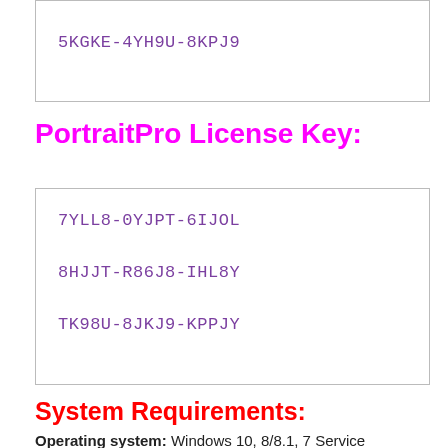5KGKE-4YH9U-8KPJ9
PortraitPro License Key:
7YLL8-0YJPT-6IJOL
8HJJT-R86J8-IHL8Y
TK98U-8JKJ9-KPPJY
System Requirements:
Operating system: Windows 10, 8/8.1, 7 Service